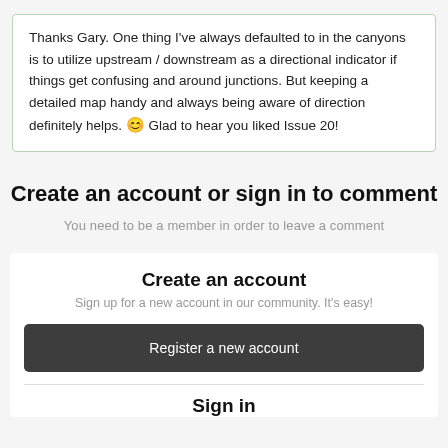Thanks Gary. One thing I've always defaulted to in the canyons is to utilize upstream / downstream as a directional indicator if things get confusing and around junctions. But keeping a detailed map handy and always being aware of direction definitely helps. 😊 Glad to hear you liked Issue 20!
Create an account or sign in to comment
You need to be a member in order to leave a comment
Create an account
Sign up for a new account in our community. It's easy!
Register a new account
Sign in